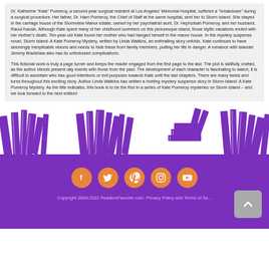Dr. Katherine "Kate" Pomeroy, a second-year surgical resident at Los Angeles' Memorial Hospital, suffered a "breakdown" during a surgical procedure. Her father, Dr. Ham Pomeroy, the Chief of Staff at the same hospital, sent her to Storm Island. She stayed in the carriage house of the Stormview Manor estate, owned by her psychiatrist aunt, Dr. Hephzibah Pomeroy, and her husband, Raoul Kassis. Although Kate spent many of her childhood summers on this picturesque island, those idyllic vacations ended with her mother's death. Ten-year-old Kate found her mother who had hanged herself in the manor house. In the mystery suspense novel, Storm Island: A Kate Pomeroy Mystery, written by Linda Watkins, an enthralling story unfolds. Kate continues to have seemingly inexplicable visions and needs to hide these from family members, putting her life in danger. A romance with islander Jeremy Bradshaw also has its unforeseen complications.
This fictional work is truly a page turner and keeps the reader engaged from the first page to the last. The plot is skillfully crafted, as the author blends present day events with those from the past. The development of each character is fascinating to watch; it is difficult to ascertain who has good intentions or evil purposes towards Kate until the last chapters. There are many twists and turns throughout this exciting story. Author Linda Watkins has written a riveting mystery suspense story in Storm Island: A Kate Pomeroy Mystery. As the title indicates, this book is to be the first in a series of Kate Pomeroy mysteries on Storm Island – and we look forward to the next edition!
[Figure (illustration): Purple illustrated books/library banner graphic]
[Figure (infographic): Social media icons: Facebook, Twitter, Pinterest, Instagram, YouTube on orange circles, plus a back-to-top button]
Copyright 2009-2022 ReadersFavorite.com. Privacy Policy and Terms of Se...